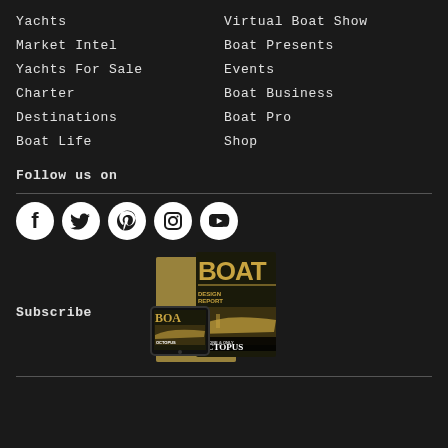Yachts
Market Intel
Yachts For Sale
Charter
Destinations
Boat Life
Virtual Boat Show
Boat Presents
Events
Boat Business
Boat Pro
Shop
Follow us on
[Figure (infographic): Social media icons: Facebook, Twitter, Pinterest, Instagram, YouTube - white on black circles]
Subscribe
[Figure (photo): BOAT magazine covers showing print and digital editions, featuring 'THE ONE & ONLY OCTOPUS' cover story]